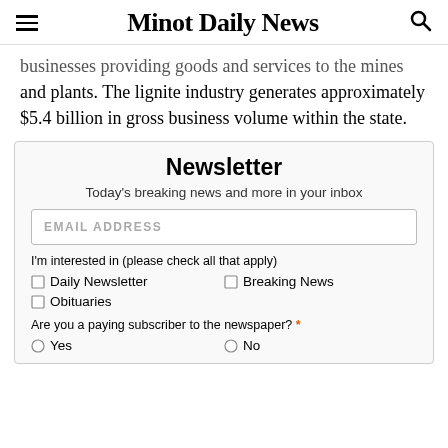Minot Daily News
businesses providing goods and services to the mines and plants. The lignite industry generates approximately $5.4 billion in gross business volume within the state.
Newsletter
Today's breaking news and more in your inbox
EMAIL ADDRESS
I'm interested in (please check all that apply)
Daily Newsletter
Breaking News
Obituaries
Are you a paying subscriber to the newspaper? *
Yes
No